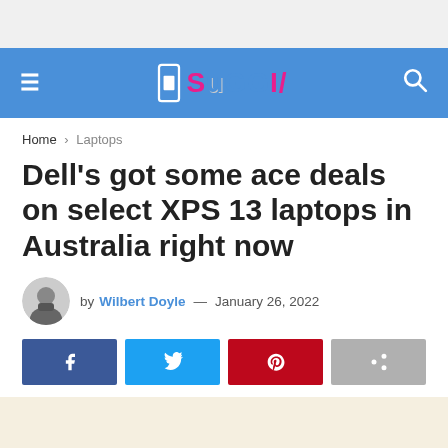iSUGGI - navigation header
Home > Laptops
Dell’s got some ace deals on select XPS 13 laptops in Australia right now
by Wilbert Doyle — January 26, 2022
[Figure (other): Social share buttons: Facebook, Twitter, Pinterest, Share]